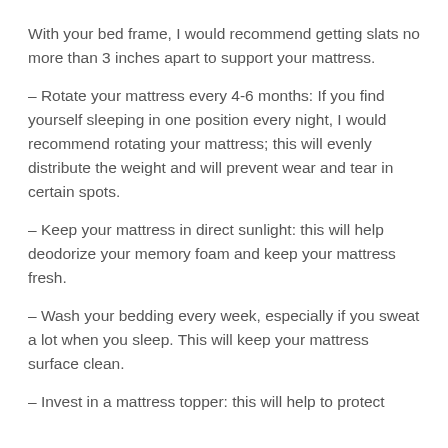With your bed frame, I would recommend getting slats no more than 3 inches apart to support your mattress.
– Rotate your mattress every 4-6 months: If you find yourself sleeping in one position every night, I would recommend rotating your mattress; this will evenly distribute the weight and will prevent wear and tear in certain spots.
– Keep your mattress in direct sunlight: this will help deodorize your memory foam and keep your mattress fresh.
– Wash your bedding every week, especially if you sweat a lot when you sleep. This will keep your mattress surface clean.
– Invest in a mattress topper: this will help to protect